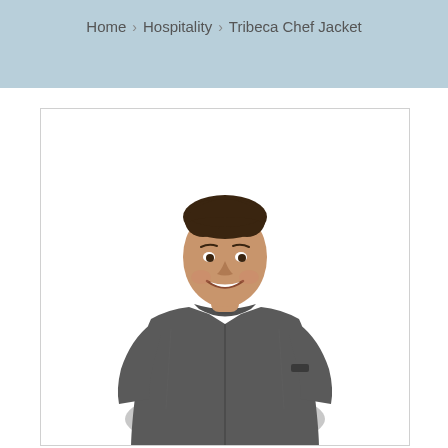Home › Hospitality › Tribeca Chef Jacket
[Figure (photo): A smiling young man wearing a grey Tribeca Chef Jacket with a mandarin collar, photographed against a white background.]